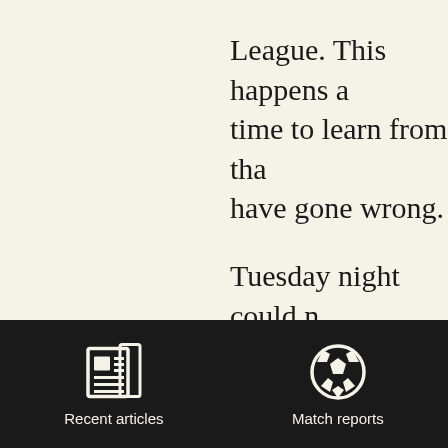League. This happens a time to learn from that have gone wrong.
Tuesday night could n team faulted following exposed David Syers a After game Peter Taylo responsible for the sec specifically about some covering Syers – Adem
[Figure (other): Dark navigation bar at bottom of screen with two icons: a newspaper icon labeled 'Recent articles' and a soccer ball icon labeled 'Match reports']